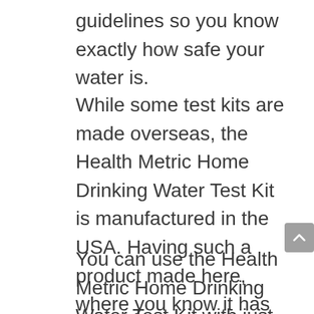guidelines so you know exactly how safe your water is.
While some test kits are made overseas, the Health Metric Home Drinking Water Test Kit is manufactured in the USA. Having such a product made here, where you know it has undergone strenuous testing, means investing in a product that will definitely work.
You can use the Health Metric Home Drinking Water Test Kit with just about any bodies of water. Tap water, well water,